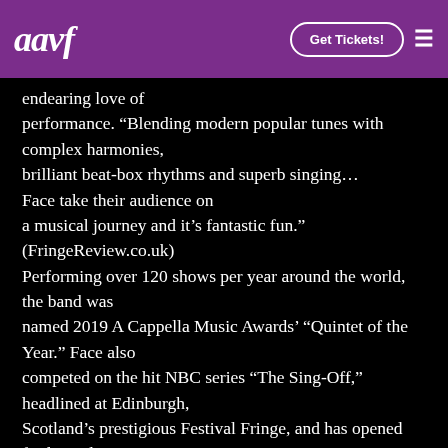aavf | Get Tickets!
endearing love of performance. “Blending modern popular tunes with complex harmonies, brilliant beat-box rhythms and superb singing… Face take their audience on a musical journey and it’s fantastic fun.” (FringeReview.co.uk) Performing over 120 shows per year around the world, the band was named 2019 A Cappella Music Awards’ “Quintet of the Year.” Face also competed on the hit NBC series “The Sing-Off,” headlined at Edinburgh, Scotland’s prestigious Festival Fringe, and has opened for legendary performers such as Jon Bon Jovi, Barenaked